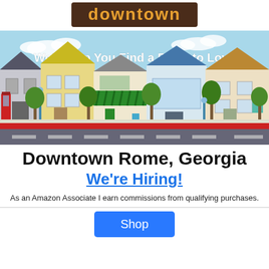downtown
[Figure (illustration): Cartoon illustration of a downtown street scene with colorful storefronts, trees, sidewalk, and road. White text overlay reads: We'll Help You Find a Place to Love]
Downtown Rome, Georgia
We're Hiring!
As an Amazon Associate I earn commissions from qualifying purchases.
[Figure (other): Blue Shop button]